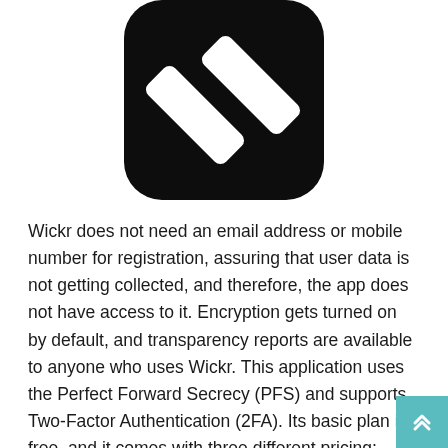[Figure (logo): Wickr app logo: black rounded square with two white diagonal parallel stripes (like double-slash marks)]
Wickr does not need an email address or mobile number for registration, assuring that user data is not getting collected, and therefore, the app does not have access to it. Encryption gets turned on by default, and transparency reports are available to anyone who uses Wickr. This application uses the Perfect Forward Secrecy (PFS) and supports Two-Factor Authentication (2FA). Its basic plan is free, and it comes with three different pricing; Silver Plan is $4.99, the Gold Plan is $9.99, and the